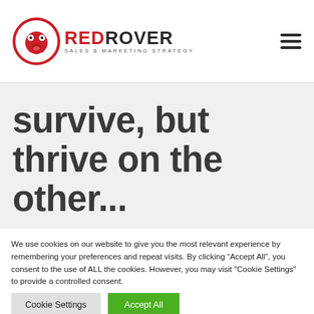RedRover Sales & Marketing Strategy
survive, but thrive on the other...
We use cookies on our website to give you the most relevant experience by remembering your preferences and repeat visits. By clicking “Accept All”, you consent to the use of ALL the cookies. However, you may visit "Cookie Settings" to provide a controlled consent.
Cookie Settings | Accept All